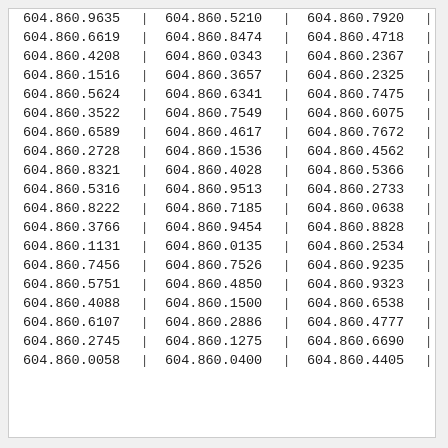| Col1 | Col2 | Col3 |
| --- | --- | --- |
| 604.860.9635 | 604.860.5210 | 604.860.7920 |
| 604.860.6619 | 604.860.8474 | 604.860.4718 |
| 604.860.4208 | 604.860.0343 | 604.860.2367 |
| 604.860.1516 | 604.860.3657 | 604.860.2325 |
| 604.860.5624 | 604.860.6341 | 604.860.7475 |
| 604.860.3522 | 604.860.7549 | 604.860.6075 |
| 604.860.6589 | 604.860.4617 | 604.860.7672 |
| 604.860.2728 | 604.860.1536 | 604.860.4562 |
| 604.860.8321 | 604.860.4028 | 604.860.5366 |
| 604.860.5316 | 604.860.9513 | 604.860.2733 |
| 604.860.8222 | 604.860.7185 | 604.860.0638 |
| 604.860.3766 | 604.860.9454 | 604.860.8828 |
| 604.860.1131 | 604.860.0135 | 604.860.2534 |
| 604.860.7456 | 604.860.7526 | 604.860.9235 |
| 604.860.5751 | 604.860.4850 | 604.860.9323 |
| 604.860.4088 | 604.860.1500 | 604.860.6538 |
| 604.860.6107 | 604.860.2886 | 604.860.4777 |
| 604.860.2745 | 604.860.1275 | 604.860.6690 |
| 604.860.0058 | 604.860.0400 | 604.860.4405 |